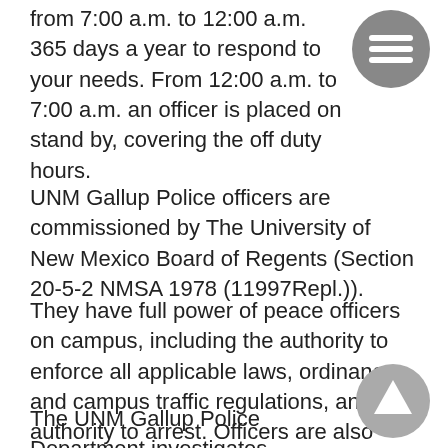from 7:00 a.m. to 12:00 a.m. 365 days a year to respond to your needs. From 12:00 a.m. to 7:00 a.m. an officer is placed on stand by, covering the off duty hours.
UNM Gallup Police officers are commissioned by The University of New Mexico Board of Regents (Section 20-5-2 NMSA 1978 (11997Repl.)).
They have full power of peace officers on campus, including the authority to enforce all applicable laws, ordinances and campus traffic regulations, and the authority to arrest. Officers are also commissioned through the McKinley County Sheriff’s Department.
The UNM Gallup Police Department investigates complaints of on-campus criminal